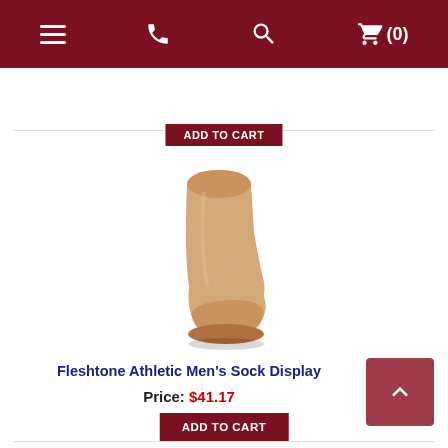Navigation header with menu, phone, search, and cart (0) icons
ADD TO CART
[Figure (photo): A fleshtone/beige plastic mannequin foot/leg display for socks, shown on a white background. The foot is positioned at an angle with the ankle facing left and the toe pointing right-downward.]
Fleshtone Athletic Men's Sock Display
Price: $41.17
ADD TO CART